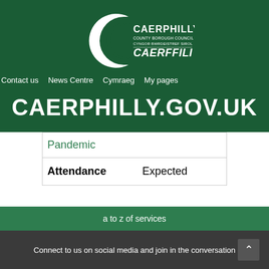[Figure (logo): Caerphilly County Borough Council / Cyngor Bwrdeistref Sirol Caerffili logo — white C-shape with text on dark green background]
Contact us  News Centre  Cymraeg  My pages
CAERPHILLY.GOV.UK
| Pandemic |
| Attendance | Expected |
a to z of services
Connect to us on social media and join in the conversation